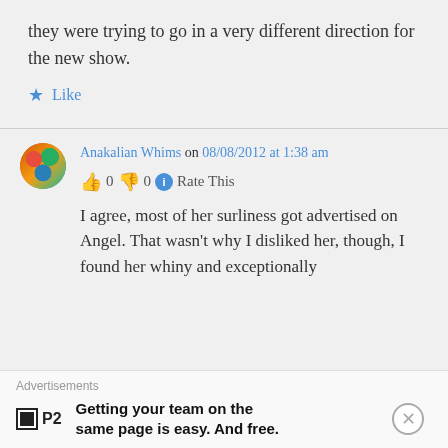they were trying to go in a very different direction for the new show.
★ Like
Anakalian Whims on 08/08/2012 at 1:38 am
👍 0 👎 0 ℹ Rate This
I agree, most of her surliness got advertised on Angel. That wasn't why I disliked her, though, I found her whiny and exceptionally
Advertisements
Getting your team on the same page is easy. And free.